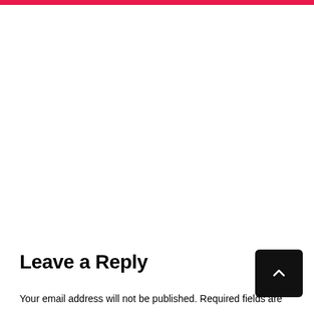Leave a Reply
Your email address will not be published. Required fields are